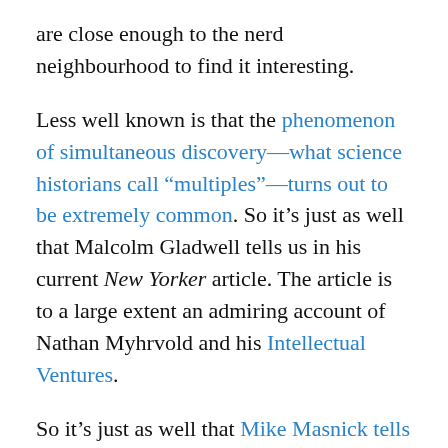are close enough to the nerd neighbourhood to find it interesting.
Less well known is that the phenomenon of simultaneous discovery—what science historians call “multiples”—turns out to be extremely common. So it’s just as well that Malcolm Gladwell tells us in his current New Yorker article. The article is to a large extent an admiring account of Nathan Myhrvold and his Intellectual Ventures.
So it’s just as well that Mike Masnick tells us that Gladwell, while “a truly fantastic writer… misses the real point.”